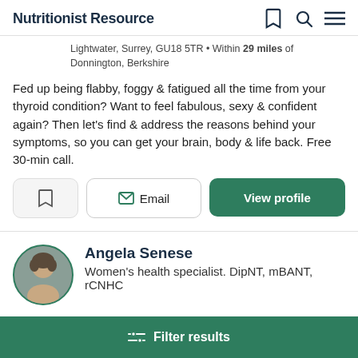Nutritionist Resource
Lightwater, Surrey, GU18 5TR • Within 29 miles of Donnington, Berkshire
Fed up being flabby, foggy & fatigued all the time from your thyroid condition? Want to feel fabulous, sexy & confident again? Then let's find & address the reasons behind your symptoms, so you can get your brain, body & life back. Free 30-min call.
Email | View profile
Angela Senese
Women's health specialist. DipNT, mBANT, rCNHC
Filter results